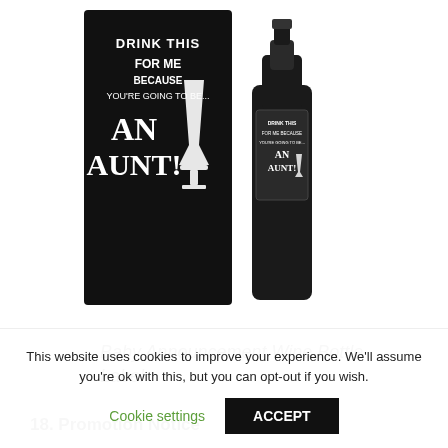[Figure (illustration): Product image showing a black wine bottle label card reading 'DRINK THIS FOR ME BECAUSE YOU'RE GOING TO BE... AN AUNT!' with champagne glass illustration on left, and a dark wine bottle with the same label on right.]
Baby Announcement Wine Bottle Label
18. Promotion Notice
This website uses cookies to improve your experience. We'll assume you're ok with this, but you can opt-out if you wish.
Cookie settings
ACCEPT